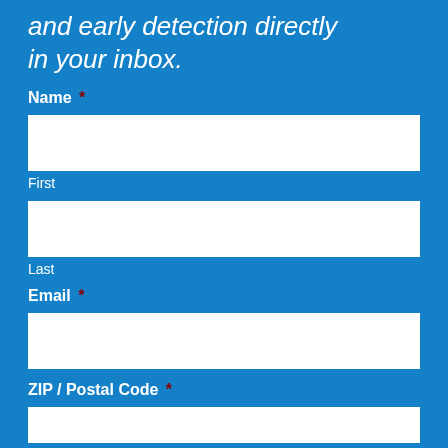and early detection directly in your inbox.
Name *
First
Last
Email *
ZIP / Postal Code *